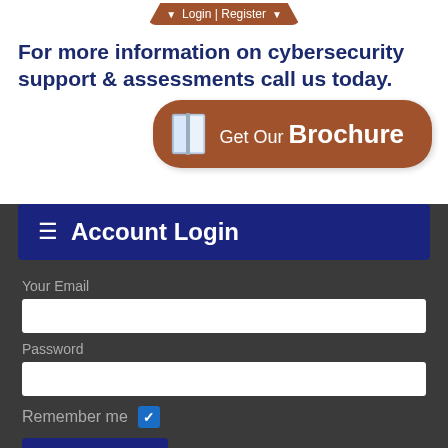For more information on cybersecurity support & assessments call us today.
[Figure (illustration): Brown navigation tab/button with 'Login | Register' text and dropdown arrows]
[Figure (illustration): Brown rounded button with book icon and text 'Get Our Brochure']
Account Login
Your Email
Password
Remember me
Login